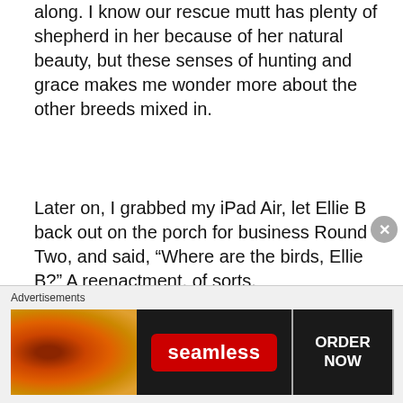along. I know our rescue mutt has plenty of shepherd in her because of her natural beauty, but these senses of hunting and grace makes me wonder more about the other breeds mixed in.
Later on, I grabbed my iPad Air, let Ellie B back out on the porch for business Round Two, and said, “Where are the birds, Ellie B?” A reenactment, of sorts.
[Figure (photo): Close-up photo of a wooden porch railing seen from below, with diagonal dark wooden beams and bright background visible through the gaps.]
Advertisements
[Figure (photo): Seamless food delivery advertisement banner showing pizza on the left, Seamless red logo in the center, and ORDER NOW button on the right.]